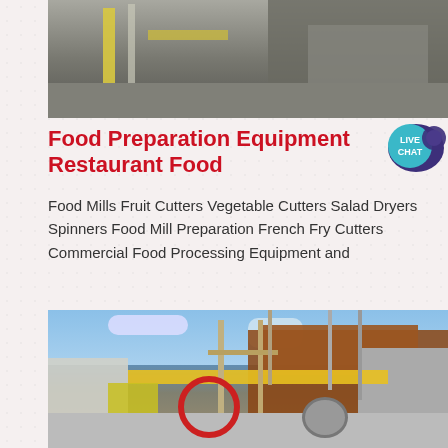[Figure (photo): Construction site photo showing concrete walls, scaffolding, and industrial structures]
Food Preparation Equipment Restaurant Food
[Figure (illustration): Live Chat speech bubble icon in teal/dark purple]
Food Mills Fruit Cutters Vegetable Cutters Salad Dryers Spinners Food Mill Preparation French Fry Cutters Commercial Food Processing Equipment and
[Figure (photo): Construction site photo showing industrial equipment, scaffolding, rusty structures, yellow beams, and a wheel mechanism against a blue sky]